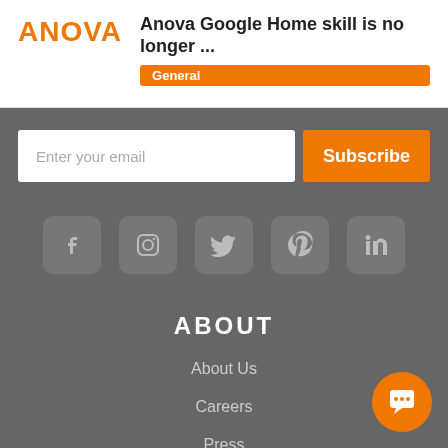Anova Google Home skill is no longer ... General
[Figure (screenshot): Email subscription bar with 'Enter your email' input and orange 'Subscribe' button]
[Figure (infographic): Row of social media icons: Facebook, Instagram, Twitter, Pinterest, LinkedIn]
ABOUT
About Us
Careers
Press
Blog